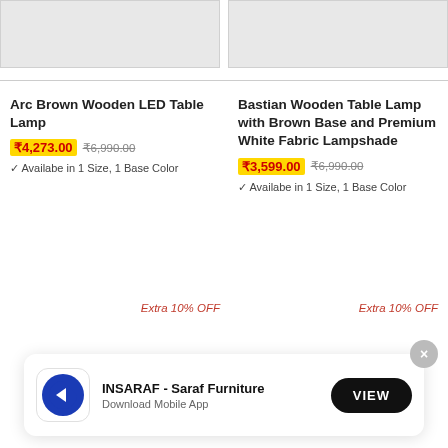[Figure (photo): Partial product image of Arc Brown Wooden LED Table Lamp on gray background]
[Figure (photo): Partial product image of Bastian Wooden Table Lamp on gray background]
Arc Brown Wooden LED Table Lamp
₹4,273.00  ₹6,990.00
✓ Availabe in 1 Size, 1 Base Color
Bastian Wooden Table Lamp with Brown Base and Premium White Fabric Lampshade
₹3,599.00  ₹6,990.00
✓ Availabe in 1 Size, 1 Base Color
Extra 10% OFF
Extra 10% OFF
[Figure (logo): INSARAF - Saraf Furniture app logo, blue circle with white arrow]
INSARAF - Saraf Furniture
Download Mobile App
VIEW